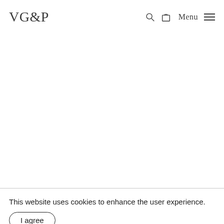VG&P  Menu
This website uses cookies to enhance the user experience.
I agree